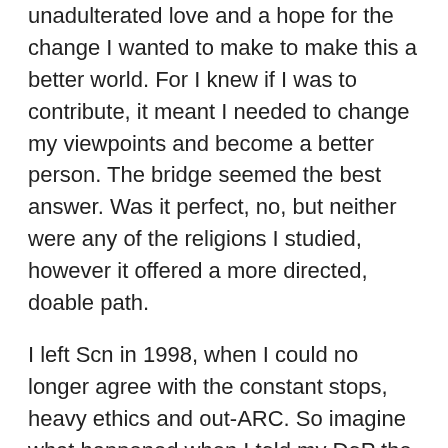unadulterated love and a hope for the change I wanted to make to make this a better world. For I knew if I was to contribute, it meant I needed to change my viewpoints and become a better person. The bridge seemed the best answer. Was it perfect, no, but neither were any of the religions I studied, however it offered a more directed, doable path.
I left Scn in 1998, when I could no longer agree with the constant stops, heavy ethics and out-ARC. So imagine what happened when I told my DoP the church was in a lower condition with me because the GAT was a total inval of Flag being 100% technically correct!
So, I thank you, this post has been a blow down for me. You've described exactly what went